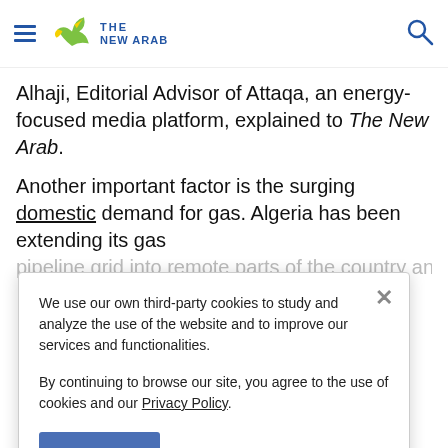THE NEW ARAB — navigation bar with hamburger menu and search icon
Alhaji, Editorial Advisor of Attaqa, an energy-focused media platform, explained to The New Arab.
Another important factor is the surging domestic demand for gas. Algeria has been extending its gas pipeline grid into remote parts of the country and
We use our own third-party cookies to study and analyze the use of the website and to improve our services and functionalities.

By continuing to browse our site, you agree to the use of cookies and our Privacy Policy.
Accept